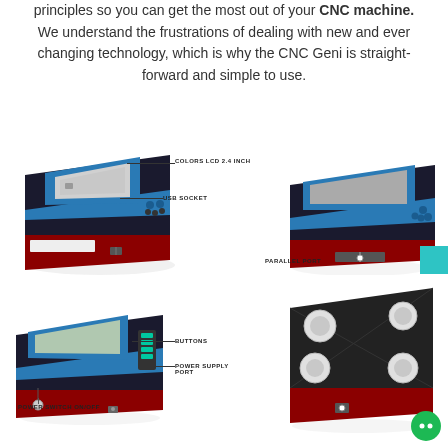principles so you can get the most out of your CNC machine. We understand the frustrations of dealing with new and ever changing technology, which is why the CNC Geni is straight-forward and simple to use.
[Figure (photo): CNC Geni device shown from top-left angle with COLOR LCD 2.4 INCH label and USB SOCKET label with callout lines]
[Figure (photo): CNC Geni device shown from top-right angle with PARALLEL PORT label]
[Figure (photo): CNC Geni device shown from bottom-left angle with BUTTONS, POWER SUPPLY PORT, and POWER SWITCH ON/OFF labels]
[Figure (photo): CNC Geni device shown from bottom/back angle revealing mounting holes]